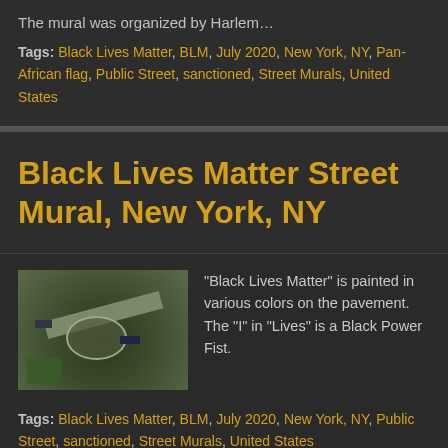The mural was organized by Harlem…
Tags: Black Lives Matter, BLM, July 2020, New York, NY, Pan-African flag, Public Street, sanctioned, Street Murals, United States
Black Lives Matter Street Mural, New York, NY
[Figure (photo): Aerial view of a street mural with circular intersection]
"Black Lives Matter" is painted in various colors on the pavement. The "I" in "Lives" is a Black Power Fist.
Tags: Black Lives Matter, BLM, July 2020, New York, NY, Public Street, sanctioned, Street Murals, United States